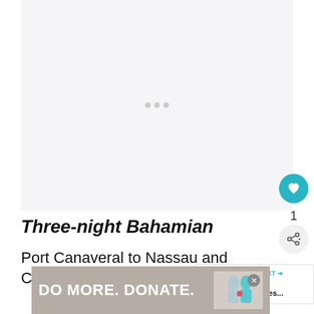[Figure (photo): Large image area with loading dots indicator, light gray background]
Three-night Bahamian
Port Canaveral to Nassau and Castaway Cay
[Figure (infographic): WHAT'S NEXT arrow label with thumbnail and text: Carnival Cruise Lines...]
[Figure (infographic): DO MORE. DONATE. advertisement banner with illustration of two people]